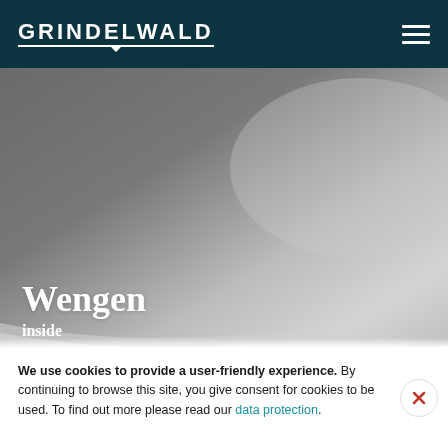GRINDELWALD
[Figure (photo): Hero image with grey gradient background representing a mountain or scenic view]
Wengen
inside
We use cookies to provide a user-friendly experience. By continuing to browse this site, you give consent for cookies to be used. To find out more please read our data protection.